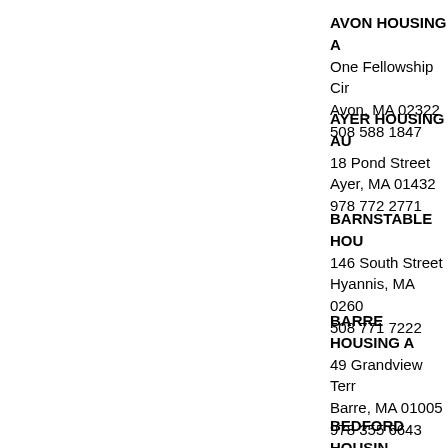AVON HOUSING A
One Fellowship Cir
Avon, MA 02322
508 588 1847
AYER HOUSING AU
18 Pond Street
Ayer, MA 01432
978 772 2771
BARNSTABLE HOU
146 South Street
Hyannis, MA 0260
508 771 7222
BARRE HOUSING A
49 Grandview Terr
Barre, MA 01005
978 355 6643
BEDFORD HOUSIN